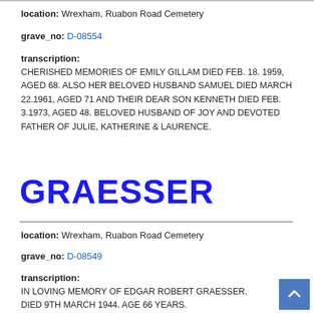location: Wrexham, Ruabon Road Cemetery
grave_no: D-08554
transcription:
CHERISHED MEMORIES OF EMILY GILLAM DIED FEB. 18. 1959, AGED 68. ALSO HER BELOVED HUSBAND SAMUEL DIED MARCH 22.1961, AGED 71 AND THEIR DEAR SON KENNETH DIED FEB. 3.1973, AGED 48. BELOVED HUSBAND OF JOY AND DEVOTED FATHER OF JULIE, KATHERINE & LAURENCE.
GRAESSER
location: Wrexham, Ruabon Road Cemetery
grave_no: D-08549
transcription:
IN LOVING MEMORY OF EDGAR ROBERT GRAESSER. DIED 9TH MARCH 1944. AGE 66 YEARS.